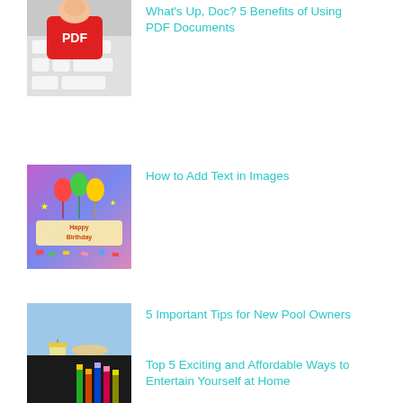[Figure (photo): Red keyboard key with PDF label being pressed by a finger]
What's Up, Doc? 5 Benefits of Using PDF Documents
[Figure (photo): Colorful Happy Birthday balloons and decorations on purple/blue background]
How to Add Text in Images
[Figure (photo): Summer scene with hat and drink near a pool]
5 Important Tips for New Pool Owners
[Figure (photo): Colored pencils and paint palette on dark background]
Top 5 Exciting and Affordable Ways to Entertain Yourself at Home